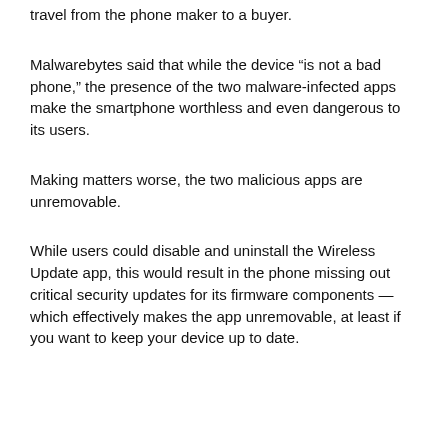travel from the phone maker to a buyer.
Malwarebytes said that while the device “is not a bad phone,” the presence of the two malware-infected apps make the smartphone worthless and even dangerous to its users.
Making matters worse, the two malicious apps are unremovable.
While users could disable and uninstall the Wireless Update app, this would result in the phone missing out critical security updates for its firmware components — which effectively makes the app unremovable, at least if you want to keep your device up to date.